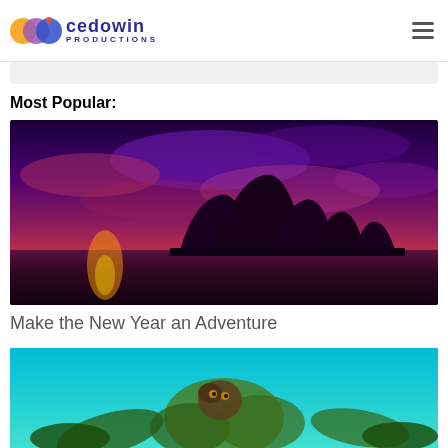[Figure (logo): Cedowin Productions logo with overlapping colored circles (yellow, purple, blue) and a red dot, with company name in dark blue]
Most Popular:
[Figure (photo): Dramatic sunset photo of Sydney Opera House silhouetted against a vivid purple and orange sky with reflections on the water]
Make the New Year an Adventure
[Figure (photo): Partial view of a fantasy or nature scene with a character or creature and tropical foliage against a turquoise sky]